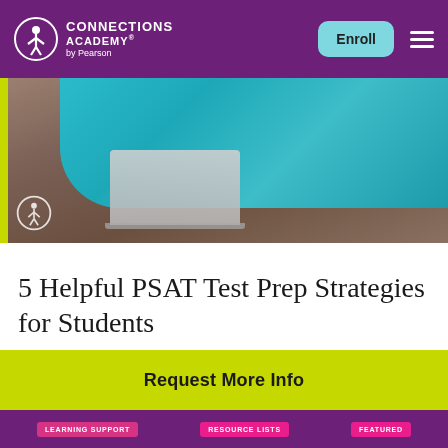Connections Academy by Pearson — Enroll
[Figure (photo): Person in teal/green sweater sitting on a brown sofa using a laptop, with Connections Academy watermark logo visible]
5 Helpful PSAT Test Prep Strategies for Students
Request More Info
LEARNING SUPPORT   RESOURCE LISTS   FEATURED